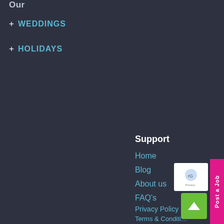Our
+ WEDDINGS
+ HOLIDAYS
Enquiry
Request a Quote
Vendor Sign Up
Customer Registration Form
Covid-19 Safe Venues
Contact us
Support
Home
Blog
About us
FAQ's
Privacy Policy
Terms & Conditions
Terms Of Use